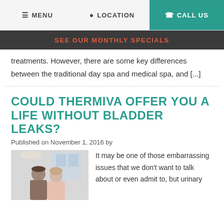MENU   LOCATION   CALL US
SEE OUR MONTHLY SPECIALS
treatments. However, there are some key differences between the traditional day spa and medical spa, and [...]
COULD THERMIVA OFFER YOU A LIFE WITHOUT BLADDER LEAKS?
Published on November 1, 2016 by
[Figure (photo): Photo of a couple, man and woman smiling together]
It may be one of those embarrassing issues that we don't want to talk about or even admit to, but urinary